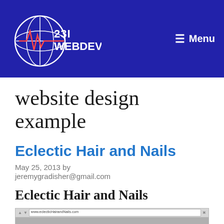23IWEBDEV  Menu
website design example
Eclectic Hair and Nails
May 25, 2013 by jeremygradisher@gmail.com
Eclectic Hair and Nails
[Figure (screenshot): Screenshot of Eclectic Hair and Nails website in a browser window]